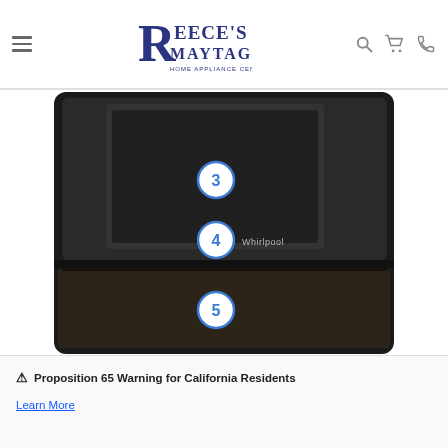[Figure (logo): Reece's Maytag Home Appliance Center logo in navy blue]
[Figure (photo): Close-up product image of a Whirlpool appliance (oven/range) showing numbered callout circles 3, 4, and 5 on a dark black stainless steel surface]
⚠ Proposition 65 Warning for California Residents
Learn More